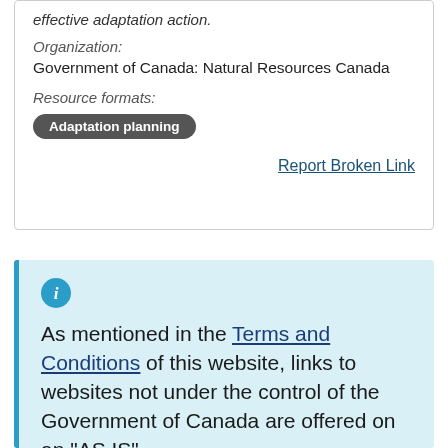effective adaptation action.
Organization:
Government of Canada: Natural Resources Canada
Resource formats:
Adaptation planning
Report Broken Link
As mentioned in the Terms and Conditions of this website, links to websites not under the control of the Government of Canada are offered on an “AS IS” basis and the Government of Canada is not responsible for the accuracy, currency or reliability of the content.